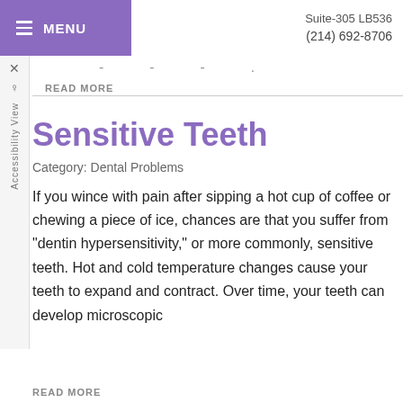MENU  Suite-305 LB536  (214) 692-8706
READ MORE
Sensitive Teeth
Category: Dental Problems
If you wince with pain after sipping a hot cup of coffee or chewing a piece of ice, chances are that you suffer from "dentin hypersensitivity," or more commonly, sensitive teeth. Hot and cold temperature changes cause your teeth to expand and contract. Over time, your teeth can develop microscopic
READ MORE